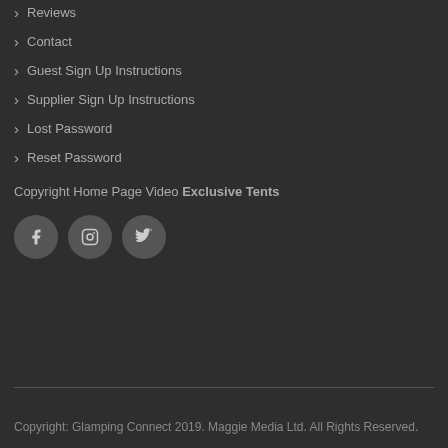Reviews
Contact
Guest Sign Up Instructions
Supplier Sign Up Instructions
Lost Password
Reset Password
Copyright Home Page Video Exclusive Tents
[Figure (illustration): Social media icon buttons: Facebook, Instagram, Twitter]
Copyright: Glamping Connect 2019. Maggie Media Ltd. All Rights Reserved.